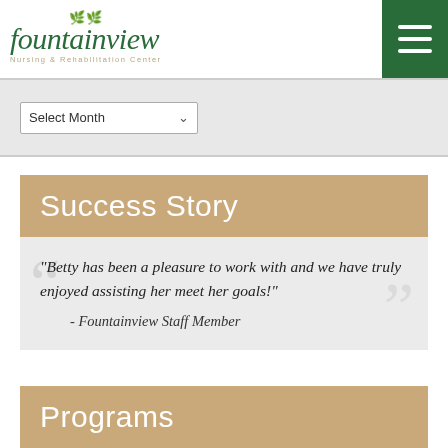[Figure (logo): Fountainview Nursing & Rehabilitation Center logo with stylized script text and tree illustration in dark green]
Select Month
Success Story
"Betty has been a pleasure to work with and we have truly enjoyed assisting her meet her goals!"
- Fountainview Staff Member
Programs